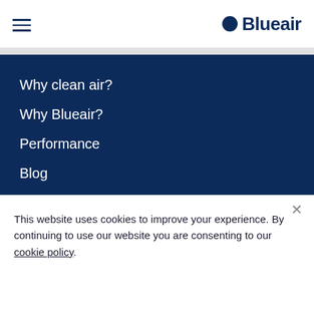Blueair
Why clean air?
Why Blueair?
Performance
Blog
Blueair for Business
Careers
This website uses cookies to improve your experience. By continuing to use our website you are consenting to our cookie policy.